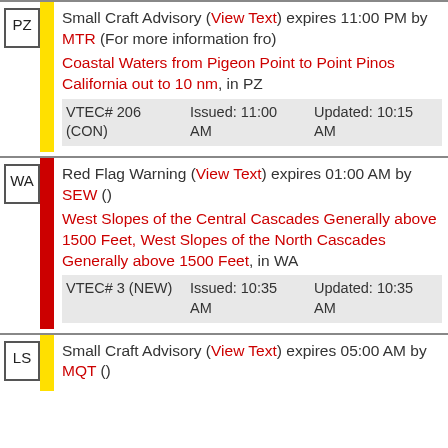PZ | Small Craft Advisory (View Text) expires 11:00 PM by MTR (For more information fro) Coastal Waters from Pigeon Point to Point Pinos California out to 10 nm, in PZ | VTEC# 206 (CON) | Issued: 11:00 AM | Updated: 10:15 AM
WA | Red Flag Warning (View Text) expires 01:00 AM by SEW () West Slopes of the Central Cascades Generally above 1500 Feet, West Slopes of the North Cascades Generally above 1500 Feet, in WA | VTEC# 3 (NEW) | Issued: 10:35 AM | Updated: 10:35 AM
LS | Small Craft Advisory (View Text) expires 05:00 AM by MQT ()